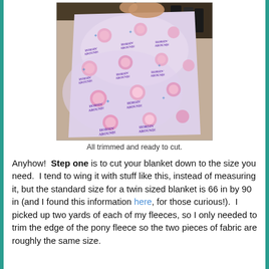[Figure (photo): A patterned fleece fabric (pony/horse print in pink, purple, and blue) being held up, all trimmed and ready to cut. Wooden floor and boots visible in background.]
All trimmed and ready to cut.
Anyhow! Step one is to cut your blanket down to the size you need. I tend to wing it with stuff like this, instead of measuring it, but the standard size for a twin sized blanket is 66 in by 90 in (and I found this information here, for those curious!). I picked up two yards of each of my fleeces, so I only needed to trim the edge of the pony fleece so the two pieces of fabric are roughly the same size.